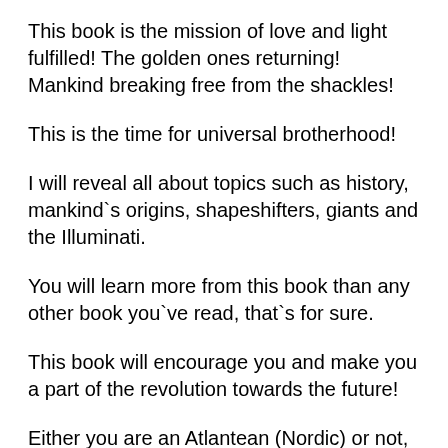This book is the mission of love and light fulfilled! The golden ones returning! Mankind breaking free from the shackles!
This is the time for universal brotherhood!
I will reveal all about topics such as history, mankind`s origins, shapeshifters, giants and the Illuminati.
You will learn more from this book than any other book you`ve read, that`s for sure.
This book will encourage you and make you a part of the revolution towards the future!
Either you are an Atlantean (Nordic) or not, this book will make you a contributing member...